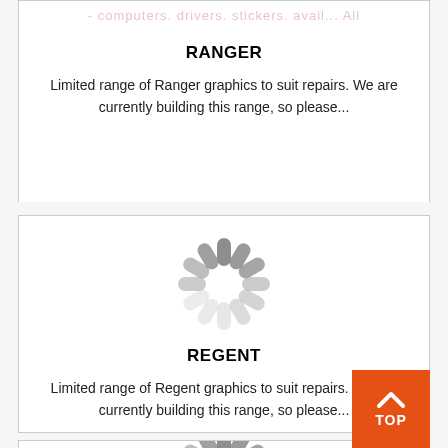[Figure (other): Loading spinner icon for Ranger product card (partially visible at top)]
RANGER
Limited range of Ranger graphics to suit repairs. We are currently building this range, so please...
[Figure (other): Loading spinner icon for Regent product card]
REGENT
Limited range of Regent graphics to suit repairs. We are currently building this range, so please...
[Figure (other): Loading spinner icon for third product card (partially visible at bottom)]